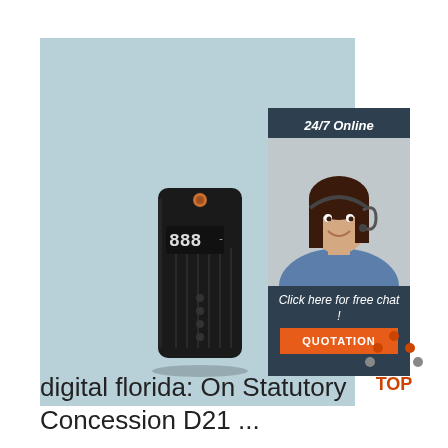[Figure (photo): Black rectangular digital device (power bank or vape mod) with LED display, standing upright on light blue-grey background]
[Figure (photo): 24/7 online chat widget showing a smiling female customer service agent wearing a headset, with 'Click here for free chat!' text and an orange QUOTATION button, on dark navy background]
[Figure (logo): Orange and dark grey TOP logo with chevron/house shape above the text TOP]
digital florida: On Statutory Concession D21 ...